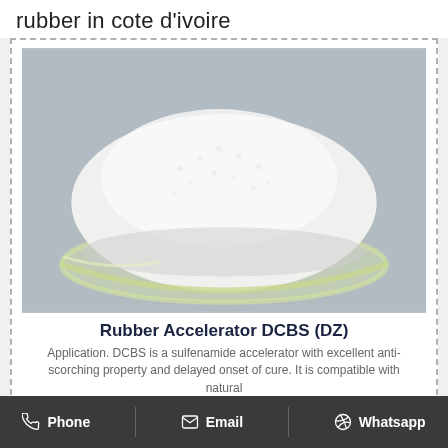rubber in cote d'ivoire
[Figure (photo): White granular powder (Rubber Accelerator DCBS/DZ) piled in a glass petri dish on a gray background]
Rubber Accelerator DCBS (DZ)
Application. DCBS is a sulfenamide accelerator with excellent anti-scorching property and delayed onset of cure. It is compatible with natural rubber the topic of ...
Phone  Email  Whatsapp